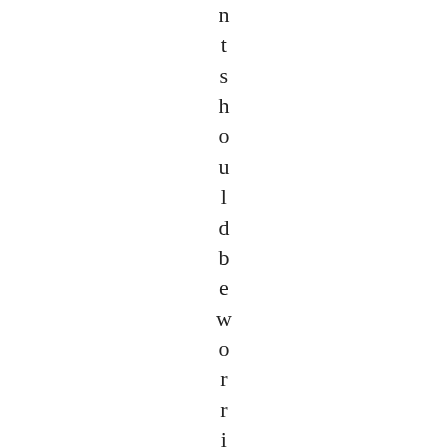n t s h o u l d b e w o r r i e d . Does Sou